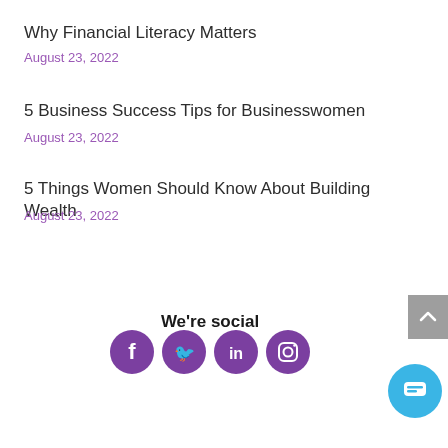Why Financial Literacy Matters
August 23, 2022
5 Business Success Tips for Businesswomen
August 23, 2022
5 Things Women Should Know About Building Wealth
August 23, 2022
We're social
[Figure (infographic): Social media icons: Facebook, Twitter, LinkedIn, Instagram — purple circles]
[Figure (other): Back to top button (grey arrow up) and blue chat button]